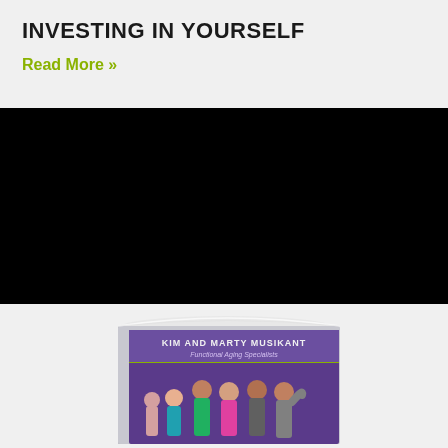INVESTING IN YOURSELF
Read More »
[Figure (photo): Black banner/image area occupying the middle third of the page]
[Figure (photo): Book cover showing 'KIM AND MARTY MUSIKANT Functional Aging Specialists' with a group of people on a purple/dark cover]